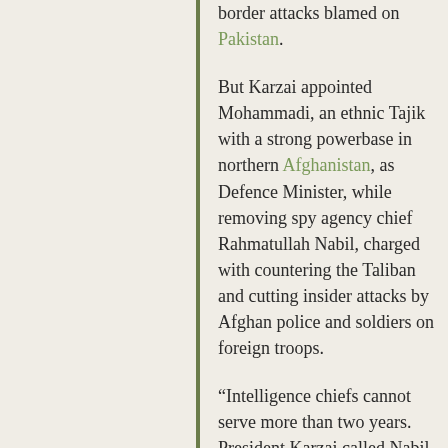border attacks blamed on Pakistan.
But Karzai appointed Mohammadi, an ethnic Tajik with a strong powerbase in northern Afghanistan, as Defence Minister, while removing spy agency chief Rahmatullah Nabil, charged with countering the Taliban and cutting insider attacks by Afghan police and soldiers on foreign troops.
“Intelligence chiefs cannot serve more than two years. President Karzai called Nabil today and thanked him for his services,” Karzai’s chief spokesman Aimal Faizi told Reuters ahead of the announcement.